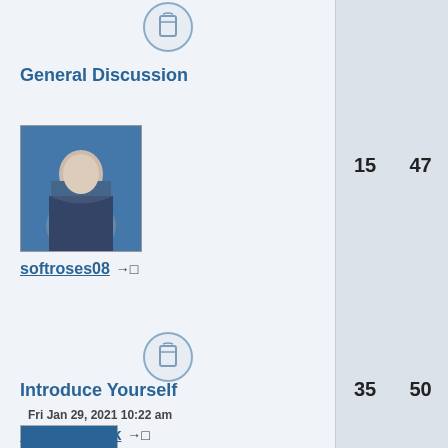[Figure (other): Forum section icon - bell/document icon in circle]
General Discussion
[Figure (photo): Avatar photo of user softroses08]
softroses08 → □
15
47
[Figure (other): Forum section icon - bell/document icon in circle]
Introduce Yourself
Fri Jan 29, 2021 10:22 am
[Figure (other): Photo not available placeholder image]
lonewolf85uk → □
35
50